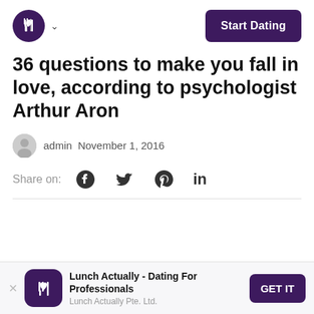Lunch Actually logo nav / Start Dating button
36 questions to make you fall in love, according to psychologist Arthur Aron
admin  November 1, 2016
Share on: [Facebook] [Twitter] [Pinterest] [LinkedIn]
[Figure (other): App advertisement bar: Lunch Actually - Dating For Professionals, Lunch Actually Pte. Ltd., GET IT button]